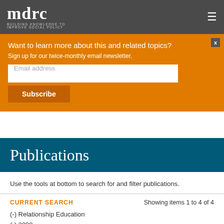mdrc BUILDING KNOWLEDGE TO IMPROVE SOCIAL POLICY
Want to learn more about this and related topics?
Sign up for our twice-monthly email newsletter.
Email address
Subscribe
Publications
Use the tools at bottom to search for and filter publications.
CURRENT SEARCH
Showing items 1 to 4 of 4
(-) Relationship Education
(-) 2008
(-) Fathers